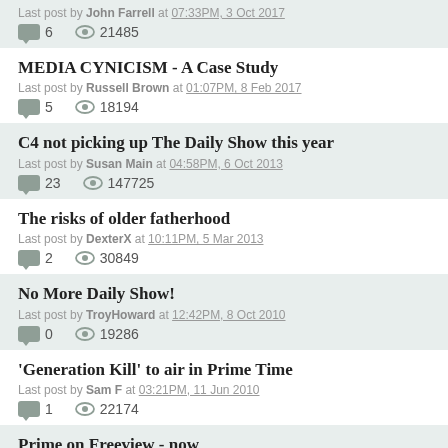Last post by John Farrell at 07:33PM, 3 Oct 2017 | 6 replies | 21485 views
MEDIA CYNICISM - A Case Study
Last post by Russell Brown at 01:07PM, 8 Feb 2017 | 5 replies | 18194 views
C4 not picking up The Daily Show this year
Last post by Susan Main at 04:58PM, 6 Oct 2013 | 23 replies | 147725 views
The risks of older fatherhood
Last post by DexterX at 10:11PM, 5 Mar 2013 | 2 replies | 30849 views
No More Daily Show!
Last post by TroyHoward at 12:42PM, 8 Oct 2010 | 0 replies | 19286 views
'Generation Kill' to air in Prime Time
Last post by Sam F at 03:21PM, 11 Jun 2010 | 1 reply | 22174 views
Prime on Freeview - now
Last post by Graeme Edgeler at 11:28AM, 17 Aug 2009 | 1 reply | 31103 views